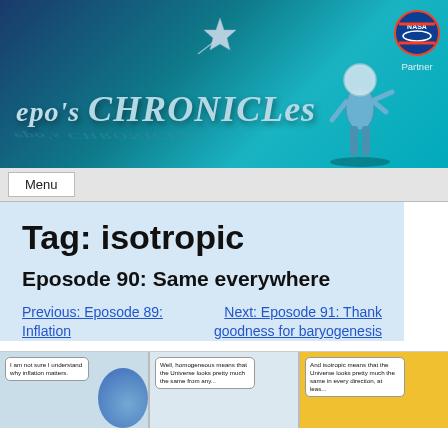[Figure (illustration): Epo's Chronicles website header banner with teal/blue gradient background, star graphic, title text, NASA partner logo, and astronaut figure]
Menu
Tag: isotropic
Eposode 90: Same everywhere
Previous: Eposode 89: Inflation
Next: Eposode 91: Thank goodness for baryogenesis
[Figure (illustration): Comic strip panels showing characters discussing homogeneous and isotropic universe. Panel 1: 'I am not sure I understand why inflation matters.' Panel 2: 'Well, homogeneous means that the Universe looks pretty much the same from any...' Panel 3: 'And isotropic means that the Universe looks pretty much the same in every direction, at leas...']